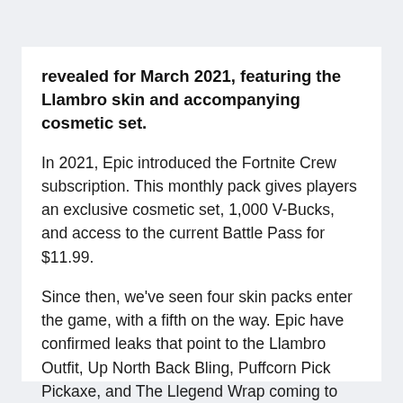revealed for March 2021, featuring the Llambro skin and accompanying cosmetic set.
In 2021, Epic introduced the Fortnite Crew subscription. This monthly pack gives players an exclusive cosmetic set, 1,000 V-Bucks, and access to the current Battle Pass for $11.99.
Since then, we've seen four skin packs enter the game, with a fifth on the way. Epic have confirmed leaks that point to the Llambro Outfit, Up North Back Bling, Puffcorn Pick Pickaxe, and The Llegend Wrap coming to the game in March 2021.